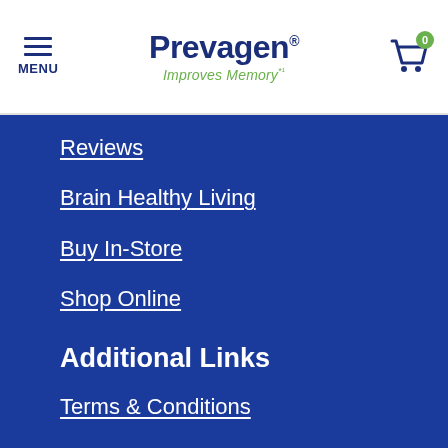MENU | Prevagen® Improves Memory*¹ | Cart 0
Reviews
Brain Healthy Living
Buy In-Store
Shop Online
Additional Links
Terms & Conditions
Privacy Policy
Don't Sell My Information
Accessibility